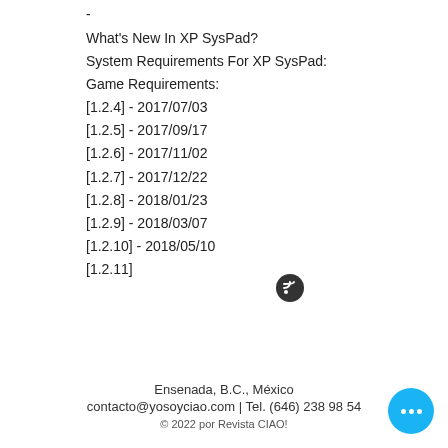-
What's New In XP SysPad?
System Requirements For XP SysPad:
Game Requirements:
[1.2.4] - 2017/07/03
[1.2.5] - 2017/09/17
[1.2.6] - 2017/11/02
[1.2.7] - 2017/12/22
[1.2.8] - 2018/01/23
[1.2.9] - 2018/03/07
[1.2.10] - 2018/05/10
[1.2.11]
[Figure (illustration): RSS feed icon button (dark circular button with wifi/rss symbol)]
Ensenada, B.C., México
contacto@yosoyciao.com | Tel. (646) 238 98 54
© 2022 por Revista CIAO!
[Figure (illustration): Chat/more options button (blue circular button with three dots)]